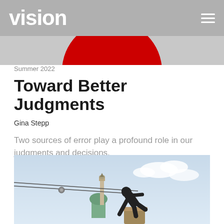vision
[Figure (photo): Partial red circle on grey background — website header image]
Summer 2022
Toward Better Judgments
Gina Stepp
Two sources of error play a profound role in our judgments and decisions.
[Figure (photo): Statue of a figure being pulled down by cables against a sky background with a mosque minaret visible below]